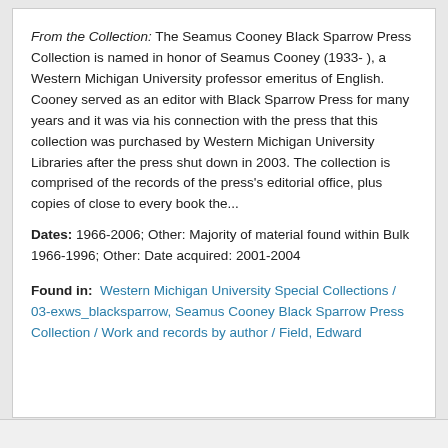From the Collection: The Seamus Cooney Black Sparrow Press Collection is named in honor of Seamus Cooney (1933- ), a Western Michigan University professor emeritus of English. Cooney served as an editor with Black Sparrow Press for many years and it was via his connection with the press that this collection was purchased by Western Michigan University Libraries after the press shut down in 2003. The collection is comprised of the records of the press's editorial office, plus copies of close to every book the... Dates: 1966-2006; Other: Majority of material found within Bulk 1966-1996; Other: Date acquired: 2001-2004
Found in: Western Michigan University Special Collections / 03-exws_blacksparrow, Seamus Cooney Black Sparrow Press Collection / Work and records by author / Field, Edward